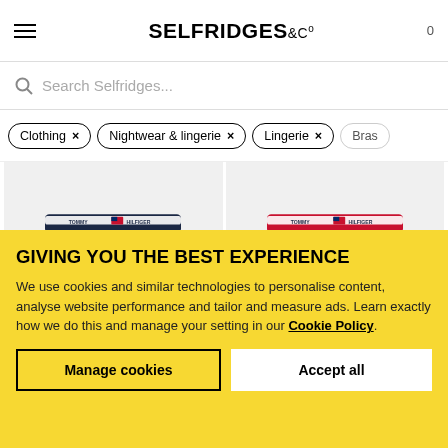SELFRIDGES &Co  0
Search Selfridges...
Clothing ×
Nightwear & lingerie ×
Lingerie ×
Bras
[Figure (photo): Navy blue Tommy Hilfiger thong underwear with branded elastic waistband]
[Figure (photo): Red Tommy Hilfiger thong underwear with branded elastic waistband]
GIVING YOU THE BEST EXPERIENCE
We use cookies and similar technologies to personalise content, analyse website performance and tailor and measure ads. Learn exactly how we do this and manage your setting in our Cookie Policy.
Manage cookies
Accept all